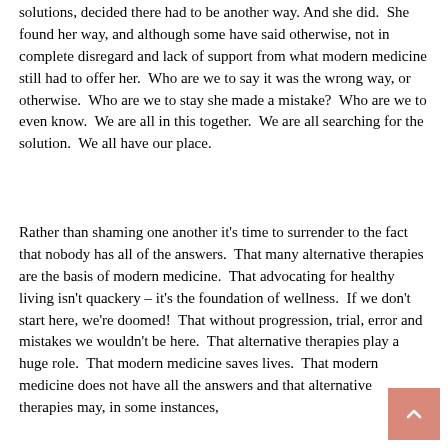solutions, decided there had to be another way. And she did. She found her way, and although some have said otherwise, not in complete disregard and lack of support from what modern medicine still had to offer her. Who are we to say it was the wrong way, or otherwise. Who are we to stay she made a mistake? Who are we to even know. We are all in this together. We are all searching for the solution. We all have our place.
Rather than shaming one another it's time to surrender to the fact that nobody has all of the answers. That many alternative therapies are the basis of modern medicine. That advocating for healthy living isn't quackery – it's the foundation of wellness. If we don't start here, we're doomed! That without progression, trial, error and mistakes we wouldn't be here. That alternative therapies play a huge role. That modern medicine saves lives. That modern medicine does not have all the answers and that alternative therapies may, in some instances,